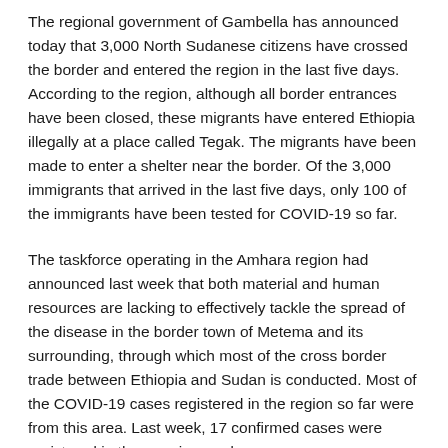The regional government of Gambella has announced today that 3,000 North Sudanese citizens have crossed the border and entered the region in the last five days. According to the region, although all border entrances have been closed, these migrants have entered Ethiopia illegally at a place called Tegak. The migrants have been made to enter a shelter near the border. Of the 3,000 immigrants that arrived in the last five days, only 100 of the immigrants have been tested for COVID-19 so far.
The taskforce operating in the Amhara region had announced last week that both material and human resources are lacking to effectively tackle the spread of the disease in the border town of Metema and its surrounding, through which most of the cross border trade between Ethiopia and Sudan is conducted. Most of the COVID-19 cases registered in the region so far were from this area. Last week, 17 confirmed cases were registered in the area in one day.